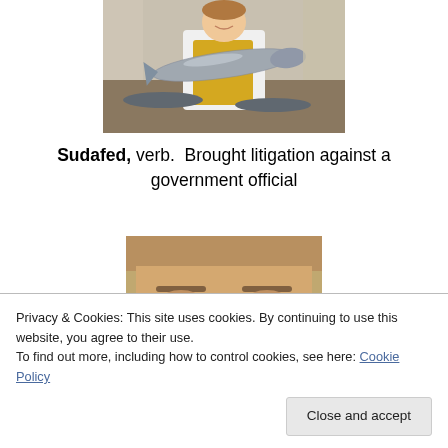[Figure (photo): A person in a white coat and yellow apron holding a large fish (salmon) at a fish market, with more fish visible in the background.]
Sudafed, verb.  Brought litigation against a government official
[Figure (photo): Close-up photo of a person's face/head, partially obscured by a cookie consent banner overlay.]
Privacy & Cookies: This site uses cookies. By continuing to use this website, you agree to their use.
To find out more, including how to control cookies, see here: Cookie Policy
Close and accept